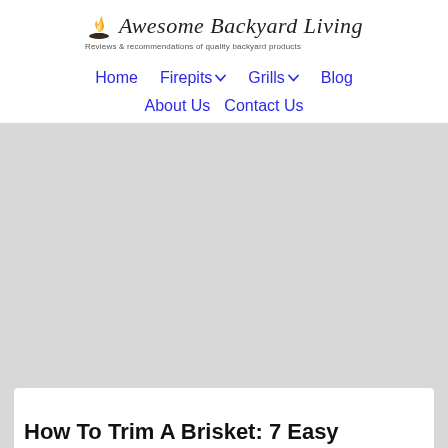[Figure (logo): Awesome Backyard Living logo with flame icon and cursive text, tagline: Reviews & recommendations of quality backyard products]
Home  Firepits ▾  Grills ▾  Blog  About Us  Contact Us
How To Trim A Brisket: 7 Easy